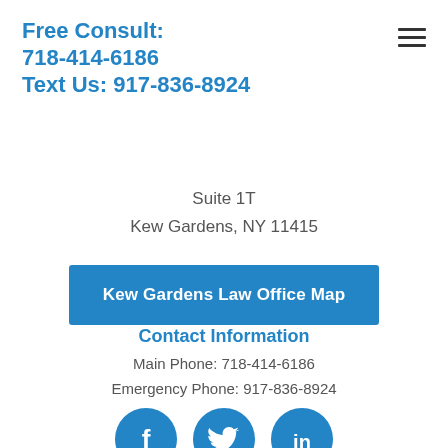Free Consult: 718-414-6186 Text Us: 917-836-8924
Suite 1T
Kew Gardens, NY 11415
Kew Gardens Law Office Map
Contact Information
Main Phone: 718-414-6186
Emergency Phone: 917-836-8924
[Figure (infographic): Three social media icons: Facebook (f), Twitter (bird), LinkedIn (in), in blue circles]